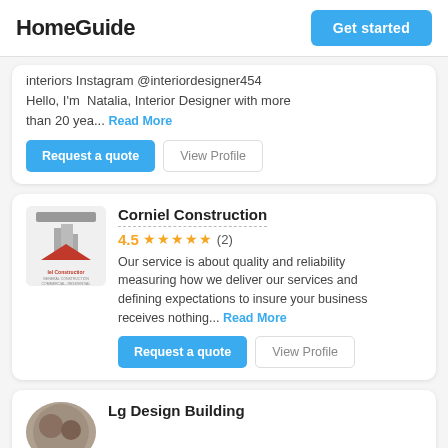HomeGuide  Get started
interiors Instagram @interiordesigner454 Hello, I'm Natalia, Interior Designer with more than 20 yea... Read More
Request a quote  View Profile
Corniel Construction
4.5 ★★★★★ (2)
Our service is about quality and reliability measuring how we deliver our services and defining expectations to insure your business receives nothing... Read More
Request a quote  View Profile
Lg Design Building